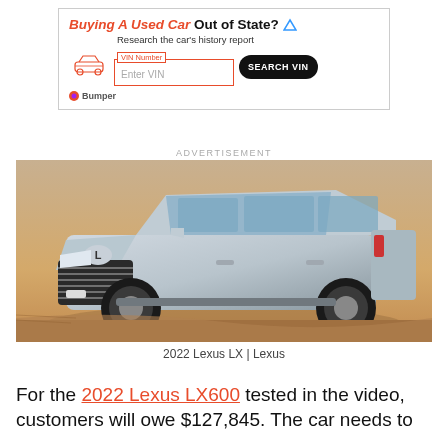[Figure (infographic): Advertisement banner for Bumper VIN history report service. Title: 'Buying A Used Car Out of State?' with a car outline icon, VIN Number input field, and SEARCH VIN button.]
ADVERTISEMENT
[Figure (photo): 2022 Lexus LX SUV in silver/grey color driving on sandy desert terrain, front three-quarter view.]
2022 Lexus LX | Lexus
For the 2022 Lexus LX600 tested in the video, customers will owe $127,845. The car needs to